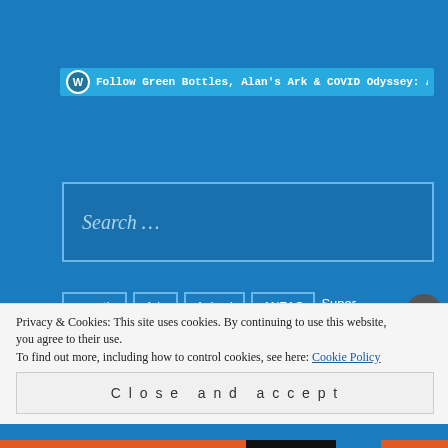Follow Green Bottles, Alan's Ark & COVID Odyssey: Alan Gr
Search ...
acrostic
Ads
Animal
ANZAC
Super
Privacy & Cookies: This site uses cookies. By continuing to use this website, you agree to their use. To find out more, including how to control cookies, see here: Cookie Policy
Close and accept